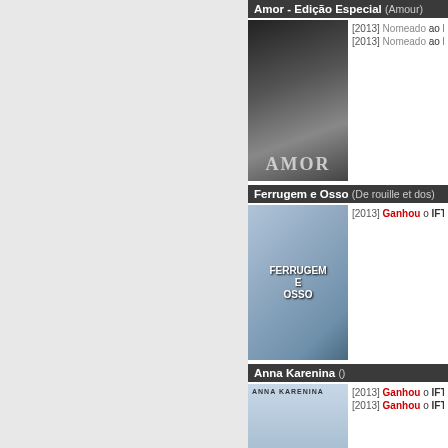Amor - Edição Especial (Amour)
[2013] Nomeado ao IFTA Award: Best International Actr...
[2013] Nomeado ao IFTA Award: Best International Film...
Ferrugem e Osso (De rouille et dos)
[2013] Ganhou o IFTA Award: Best International Actress...
Anna Karenina ()
[2013] Ganhou o IFTA Award: Best Director of Photogra...
[2013] Ganhou o IFTA Award: Best Supporting Actor Fil...
Sete Psicopatas (Seven Psychopaths)
[2013] Nomeado ao IFTA Award: Best Actor Film "Colin...
[2013] Nomeado ao IFTA Award: Best Director Film "Ma...
[2013] Nomeado ao IFTA Award: Best Script Film "Mart...
A Guerra dos Tronos - Série 1 (disco 1 e...